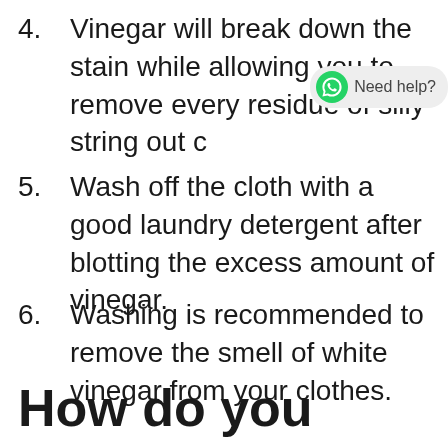4. Vinegar will break down the stain while allowing you to remove every residue of silly string out c
5. Wash off the cloth with a good laundry detergent after blotting the excess amount of vinegar.
6. Washing is recommended to remove the smell of white vinegar from your clothes.
How do you